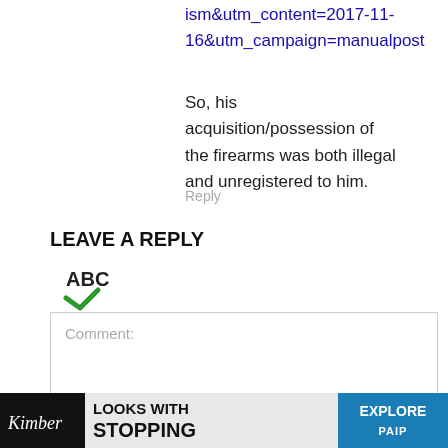ism&utm_content=2017-11-16&utm_campaign=manualpost
So, his acquisition/possession of the firearms was both illegal and unregistered to him.
Reply
LEAVE A REPLY
[Figure (other): ABC spellcheck icon with green checkmark]
[Figure (screenshot): Comment text input box with placeholder text 'Comment:']
[Figure (other): Advertisement banner: Kimber logo on dark background, 'LOOKS WITH STOPPING' text, 'EXPLORE' button on blue background]